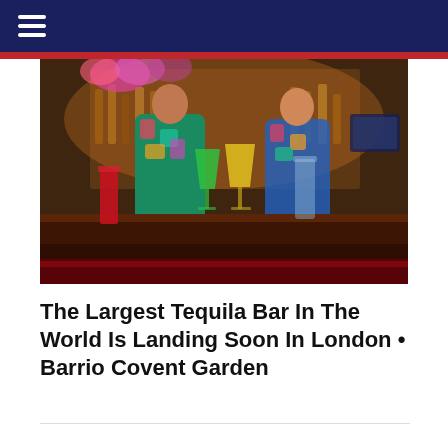☰
[Figure (photo): Bartenders behind a bar counter with colorful cocktails in various glasses including martini glasses and highball glasses, with bottles and bar equipment visible in the background, lit with warm and colorful lighting.]
The Largest Tequila Bar In The World Is Landing Soon In London • Barrio Covent Garden